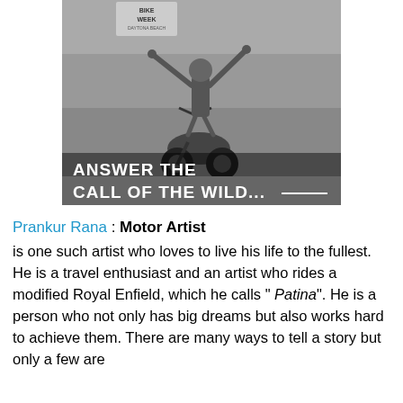[Figure (photo): Black and white photo of a motorcycle stunt rider performing a stand-up stunt on a moving motorcycle at what appears to be Bike Week event, with a crowd in the background. Bold white text overlaid at bottom reads: ANSWER THE CALL OF THE WILD...]
Prankur Rana : Motor Artist is one such artist who loves to live his life to the fullest. He is a travel enthusiast and an artist who rides a modified Royal Enfield, which he calls " Patina". He is a person who not only has big dreams but also works hard to achieve them. There are many ways to tell a story but only a few are